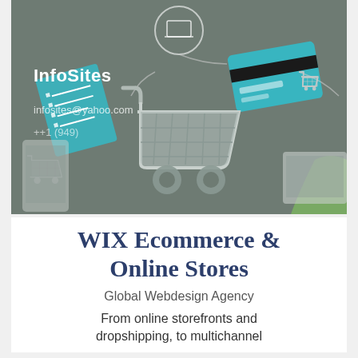[Figure (illustration): E-commerce themed illustration with shopping carts, a credit card, a checklist/document, and a laptop icon on a grey-green background. Shows a mobile phone and tablet devices with shopping cart icons overlaid.]
InfoSites
infosites@yahoo.com
++1 (949) [redacted]
WIX Ecommerce & Online Stores
Global Webdesign Agency
From online storefronts and dropshipping, to multichannel